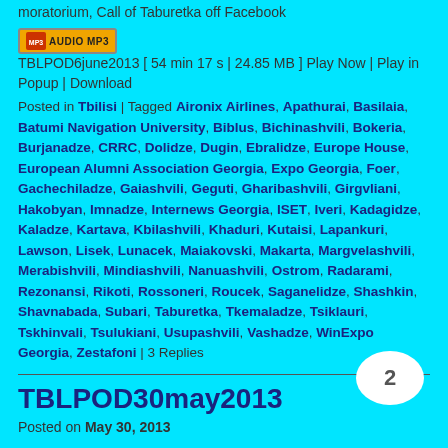moratorium, Call of Taburetka off Facebook
TBLPOD6june2013 [ 54 min 17 s | 24.85 MB ] Play Now | Play in Popup | Download
Posted in Tbilisi | Tagged Aironix Airlines, Apathurai, Basilaia, Batumi Navigation University, Biblus, Bichinashvili, Bokeria, Burjanadze, CRRC, Dolidze, Dugin, Ebralidze, Europe House, European Alumni Association Georgia, Expo Georgia, Foer, Gachechiladze, Gaiashvili, Geguti, Gharibashvili, Girgvliani, Hakobyan, Imnadze, Internews Georgia, ISET, Iveri, Kadagidze, Kaladze, Kartava, Kbilashvili, Khaduri, Kutaisi, Lapankuri, Lawson, Lisek, Lunacek, Maiakovski, Makarta, Margvelashvili, Merabishvili, Mindiashvili, Nanuashvili, Ostrom, Radarami, Rezonansi, Rikoti, Rossoneri, Roucek, Saganelidze, Shashkin, Shavnabada, Subari, Taburetka, Tkemaladze, Tsiklauri, Tskhinvali, Tsulukiani, Usupashvili, Vashadze, WinExpo Georgia, Zestafoni | 3 Replies
TBLPOD30may2013
Posted on May 30, 2013
2